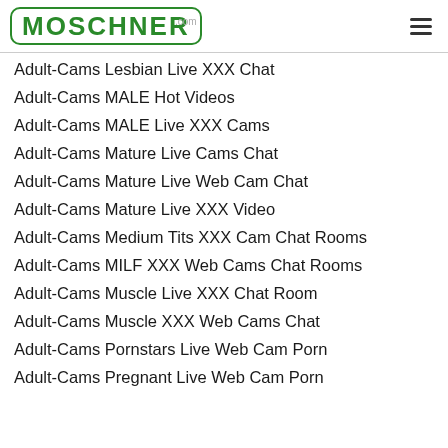MOSCHNER
Adult-Cams Lesbian Live XXX Chat
Adult-Cams MALE Hot Videos
Adult-Cams MALE Live XXX Cams
Adult-Cams Mature Live Cams Chat
Adult-Cams Mature Live Web Cam Chat
Adult-Cams Mature Live XXX Video
Adult-Cams Medium Tits XXX Cam Chat Rooms
Adult-Cams MILF XXX Web Cams Chat Rooms
Adult-Cams Muscle Live XXX Chat Room
Adult-Cams Muscle XXX Web Cams Chat
Adult-Cams Pornstars Live Web Cam Porn
Adult-Cams Pregnant Live Web Cam Porn